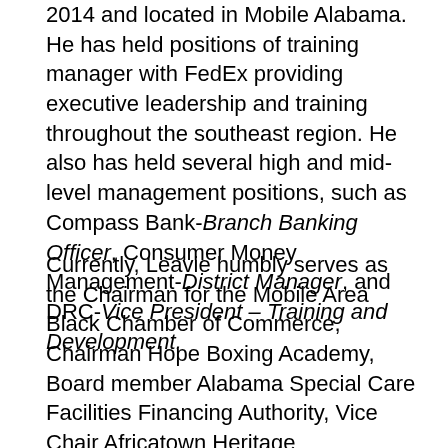2014 and located in Mobile Alabama. He has held positions of training manager with FedEx providing executive leadership and training throughout the southeast region. He also has held several high and mid-level management positions, such as Compass Bank-Branch Banking Officer, Consumer Money Management-District Manager, and DRC-Vice President – Training and Development.
Currently, Leavie humbly serves as the Chairman for the Mobile Area Black Chamber of Commerce, Chairman Hope Boxing Academy, Board member Alabama Special Care Facilities Financing Authority, Vice Chair Africatown Heritage Preservation Foundation, Advisory Board Member Ignite! Alabama, and Development Council member Victory Health Partners. He also has established philanthropic mentoring projects and is designated as a Partner in Education with both Ella Grant Elementary and Marvele Elementary Schools and is the founder of